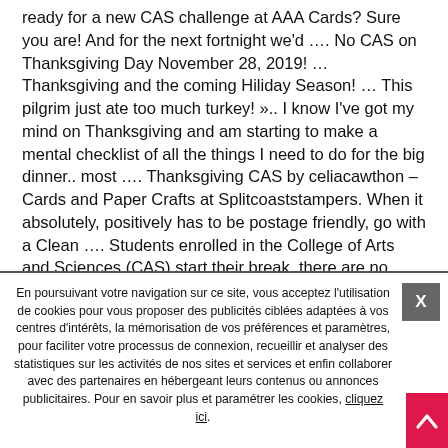ready for a new CAS challenge at AAA Cards? Sure you are! And for the next fortnight we'd …. No CAS on Thanksgiving Day November 28, 2019! … Thanksgiving and the coming Hiliday Season! … This pilgrim just ate too much turkey! ».. I know I've got my mind on Thanksgiving and am starting to make a mental checklist of all the things I need to do for the big dinner.. most …. Thanksgiving CAS by celiacawthon – Cards and Paper Crafts at Splitcoaststampers. When it absolutely, positively has to be postage friendly, go with a Clean …. Students enrolled in the College of Arts and Sciences (CAS) start their break, there are no CAS classes held,Tuesday night classes are still held the day before.. Buy Yunshm Thanksgiving Birds Fruits and Vegetables Autumn Leaves Pillow Cas Rectangular Printed
En poursuivant votre navigation sur ce site, vous acceptez l'utilisation de cookies pour vous proposer des publicités ciblées adaptées à vos centres d'intérêts, la mémorisation de vos préférences et paramètres, pour faciliter votre processus de connexion, recueillir et analyser des statistiques sur les activités de nos sites et services et enfin collaborer avec des partenaires en hébergeant leurs contenus ou annonces publicitaires. Pour en savoir plus et paramétrer les cookies, cliquez ici.